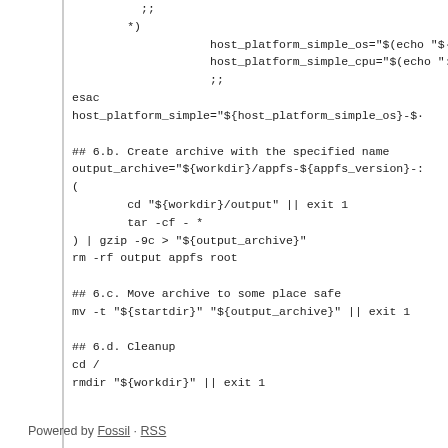;;
        *)
                    host_platform_simple_os="$(echo "$·
                    host_platform_simple_cpu="$(echo ":
                    ;;
esac
host_platform_simple="${host_platform_simple_os}-$·

## 6.b. Create archive with the specified name
output_archive="${workdir}/appfs-${appfs_version}-:
(
        cd "${workdir}/output" || exit 1
        tar -cf - *
) | gzip -9c > "${output_archive}"
rm -rf output appfs root

## 6.c. Move archive to some place safe
mv -t "${startdir}" "${output_archive}" || exit 1

## 6.d. Cleanup
cd /
rmdir "${workdir}" || exit 1

# 7. Declare victory
exit 0
Powered by Fossil · RSS